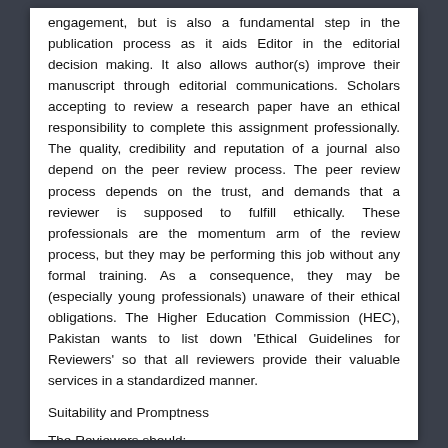engagement, but is also a fundamental step in the publication process as it aids Editor in the editorial decision making. It also allows author(s) improve their manuscript through editorial communications. Scholars accepting to review a research paper have an ethical responsibility to complete this assignment professionally. The quality, credibility and reputation of a journal also depend on the peer review process. The peer review process depends on the trust, and demands that a reviewer is supposed to fulfill ethically. These professionals are the momentum arm of the review process, but they may be performing this job without any formal training. As a consequence, they may be (especially young professionals) unaware of their ethical obligations. The Higher Education Commission (HEC), Pakistan wants to list down 'Ethical Guidelines for Reviewers' so that all reviewers provide their valuable services in a standardized manner.
Suitability and Promptness
The Reviewers should: